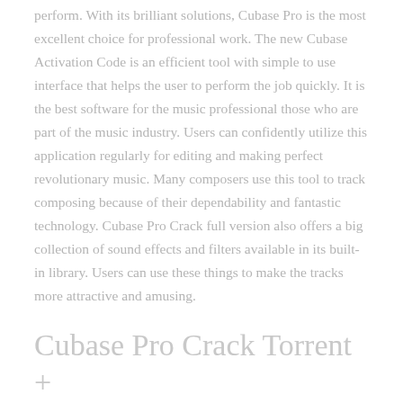perform. With its brilliant solutions, Cubase Pro is the most excellent choice for professional work. The new Cubase Activation Code is an efficient tool with simple to use interface that helps the user to perform the job quickly. It is the best software for the music professional those who are part of the music industry. Users can confidently utilize this application regularly for editing and making perfect revolutionary music. Many composers use this tool to track composing because of their dependability and fantastic technology. Cubase Pro Crack full version also offers a big collection of sound effects and filters available in its built-in library. Users can use these things to make the tracks more attractive and amusing.
Cubase Pro Crack Torrent + Activation Code
Cubase Pro Crack with a brand...